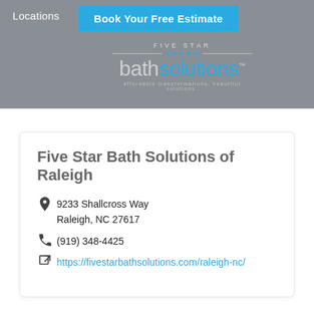Locations | Book Your Free Estimate
[Figure (logo): Five Star Bath Solutions logo with stars, company name and tagline 'affordable transformations. beautiful solutions.']
Five Star Bath Solutions of Raleigh
9233 Shallcross Way
Raleigh, NC 27617
(919) 348-4425
https://fivestarbathsolutions.com/raleigh-nc/